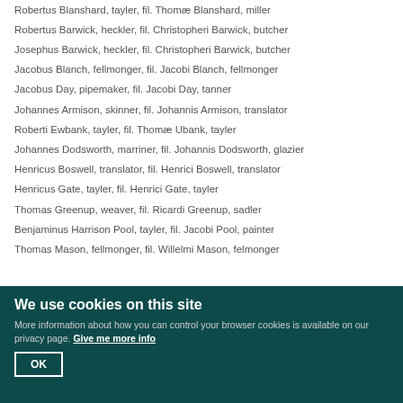Robertus Blanshard, tayler, fil. Thomæ Blanshard, miller
Robertus Barwick, heckler, fil. Christopheri Barwick, butcher
Josephus Barwick, heckler, fil. Christopheri Barwick, butcher
Jacobus Blanch, fellmonger, fil. Jacobi Blanch, fellmonger
Jacobus Day, pipemaker, fil. Jacobi Day, tanner
Johannes Armison, skinner, fil. Johannis Armison, translator
Roberti Ewbank, tayler, fil. Thomæ Ubank, tayler
Johannes Dodsworth, marriner, fil. Johannis Dodsworth, glazier
Henricus Boswell, translator, fil. Henrici Boswell, translator
Henricus Gate, tayler, fil. Henrici Gate, tayler
Thomas Greenup, weaver, fil. Ricardi Greenup, sadler
Benjaminus Harrison Pool, tayler, fil. Jacobi Pool, painter
Thomas Mason, fellmonger, fil. Willelmi Mason, felmonger
We use cookies on this site
More information about how you can control your browser cookies is available on our privacy page. Give me more info
OK